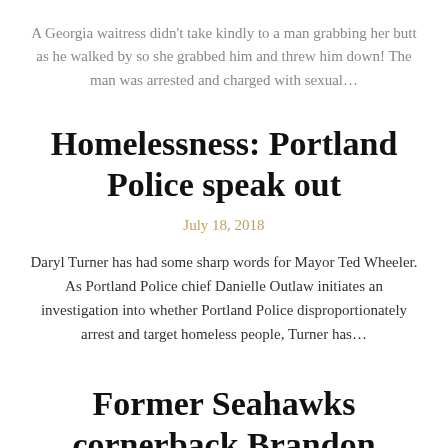A Georgia waitress didn't take kindly to a man grabbing her butt as he walked by so she grabbed him and threw him down! The man was arrested and charged with sexual…
Homelessness: Portland Police speak out
July 18, 2018
Daryl Turner has had some sharp words for Mayor Ted Wheeler. As Portland Police chief Danielle Outlaw initiates an investigation into whether Portland Police disproportionately arrest and target homeless people, Turner has…
Former Seahawks cornerback Brandon Browner jailed on $10M